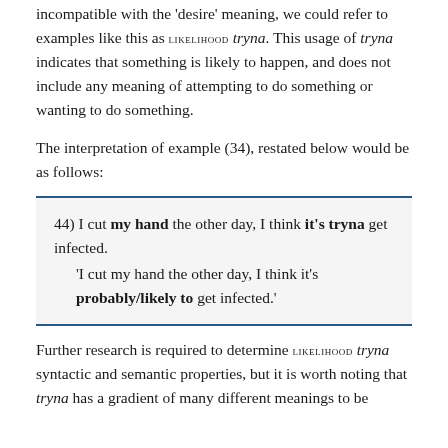incompatible with the 'desire' meaning, we could refer to examples like this as LIKELIHOOD tryna. This usage of tryna indicates that something is likely to happen, and does not include any meaning of attempting to do something or wanting to do something.
The interpretation of example (34), restated below would be as follows:
44) I cut my hand the other day, I think it's tryna get infected. 'I cut my hand the other day, I think it's probably/likely to get infected.'
Further research is required to determine LIKELIHOOD tryna syntactic and semantic properties, but it is worth noting that tryna has a gradient of many different meanings to be